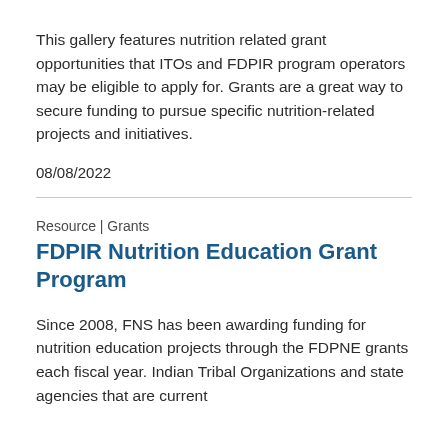This gallery features nutrition related grant opportunities that ITOs and FDPIR program operators may be eligible to apply for. Grants are a great way to secure funding to pursue specific nutrition-related projects and initiatives.
08/08/2022
Resource | Grants
FDPIR Nutrition Education Grant Program
Since 2008, FNS has been awarding funding for nutrition education projects through the FDPNE grants each fiscal year. Indian Tribal Organizations and state agencies that are current